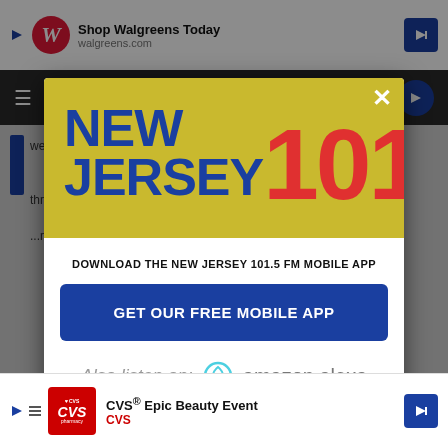[Figure (screenshot): Background webpage showing a navigation bar and partial article content, dimmed behind a modal overlay]
[Figure (logo): New Jersey 101.5 FM radio station logo on yellow/olive background - 'NEW JERSEY' in blue bold text and '101.5' in red bold text]
×
DOWNLOAD THE NEW JERSEY 101.5 FM MOBILE APP
GET OUR FREE MOBILE APP
Also listen on:  amazon alexa
[Figure (infographic): CVS Epic Beauty Event advertisement banner at bottom of page]
CVS® Epic Beauty Event CVS